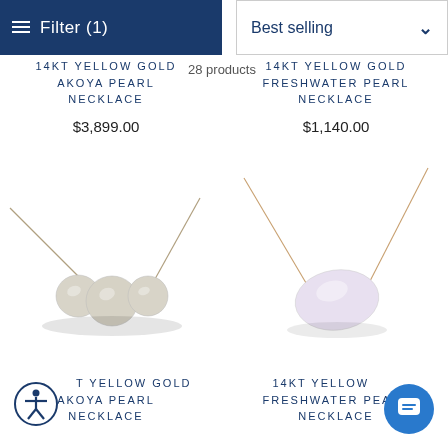Filter (1)  |  Best selling  |  28 products
14KT YELLOW GOLD AKOYA PEARL NECKLACE
$3,899.00
14KT YELLOW GOLD FRESHWATER PEARL NECKLACE
$1,140.00
[Figure (photo): 14kt yellow gold akoya pearl necklace with three graduated pearls on a delicate chain]
[Figure (photo): 14kt yellow gold freshwater baroque pearl necklace on a delicate chain]
14KT YELLOW GOLD AKOYA PEARL NECKLACE
14KT YELLOW GOLD FRESHWATER PEARL NECKLACE